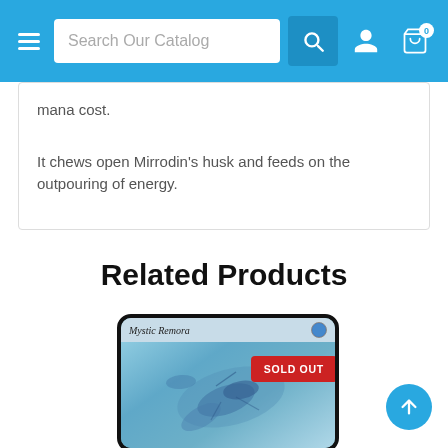Search Our Catalog
mana cost.
It chews open Mirrodin's husk and feeds on the outpouring of energy.
Related Products
[Figure (photo): Trading card image for Mystic Remora showing fish/manta ray creature in blue underwater art, with SOLD OUT badge]
SOLD OUT